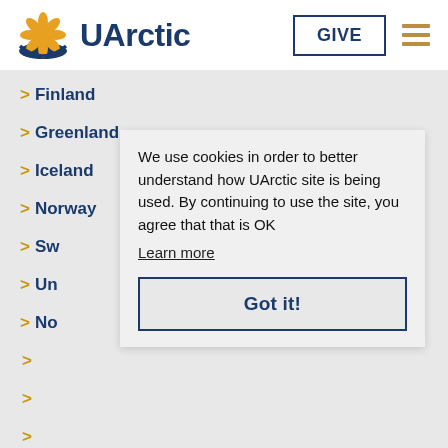[Figure (logo): UArctic logo with flower/snowflake symbol and text 'UArctic']
> Finland
> Greenland
> Iceland
> Norway
> Sw
> Un
> No
>
>
>
We use cookies in order to better understand how UArctic site is being used. By continuing to use the site, you agree that that is OK
Learn more
Got it!